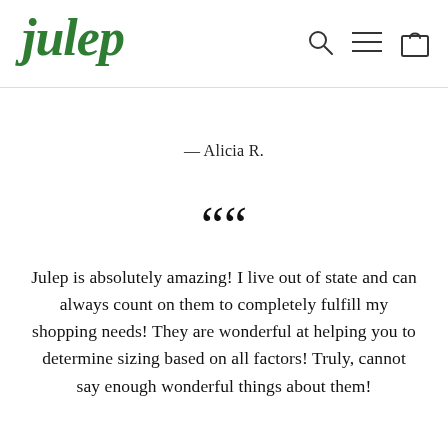julep [navigation icons: search, menu, cart]
— Alicia R.
““
Julep is absolutely amazing! I live out of state and can always count on them to completely fulfill my shopping needs! They are wonderful at helping you to determine sizing based on all factors! Truly, cannot say enough wonderful things about them!